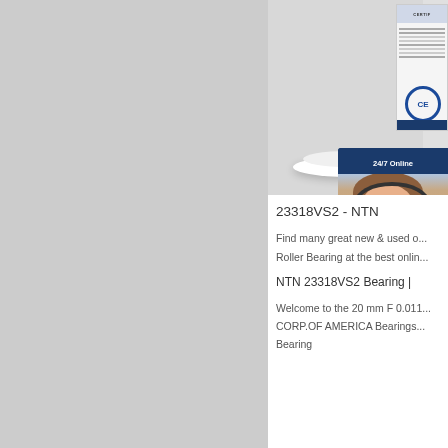[Figure (photo): Product image area showing a white pedestal/display stand against gray background, with a certification document overlay in the top right, and a 24/7 online customer service chat widget with female agent wearing headset.]
23318VS2 - NTN
Find many great new & used o... Roller Bearing at the best onlin...
NTN 23318VS2 Bearing |
Welcome to the 20 mm F 0.011... CORP.OF AMERICA Bearings... Bearing